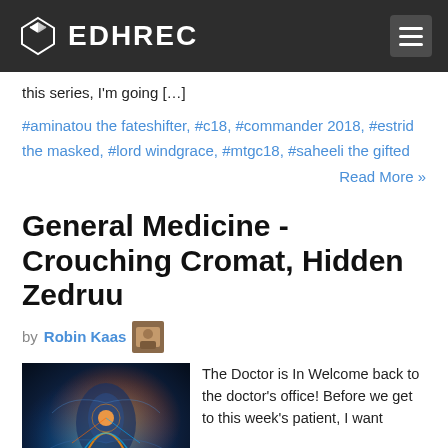EDHREC
this series, I'm going […]
#aminatou the fateshifter, #c18, #commander 2018, #estrid the masked, #lord windgrace, #mtgc18, #saheeli the gifted
Read More »
General Medicine - Crouching Cromat, Hidden Zedruu
by Robin Kaas
[Figure (illustration): Fantasy artwork showing a character with glowing energy effects in dark blue and orange tones]
The Doctor is In Welcome back to the doctor's office! Before we get to this week's patient, I want to extend another thank you to everyone who has sent in decks since my previous article, I often get very good